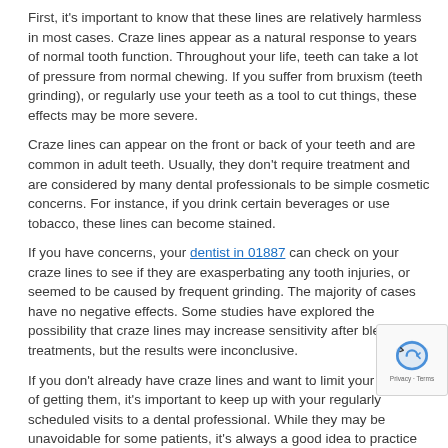First, it's important to know that these lines are relatively harmless in most cases. Craze lines appear as a natural response to years of normal tooth function. Throughout your life, teeth can take a lot of pressure from normal chewing. If you suffer from bruxism (teeth grinding), or regularly use your teeth as a tool to cut things, these effects may be more severe.
Craze lines can appear on the front or back of your teeth and are common in adult teeth. Usually, they don't require treatment and are considered by many dental professionals to be simple cosmetic concerns. For instance, if you drink certain beverages or use tobacco, these lines can become stained.
If you have concerns, your dentist in 01887 can check on your craze lines to see if they are exasperbating any tooth injuries, or seemed to be caused by frequent grinding. The majority of cases have no negative effects. Some studies have explored the possibility that craze lines may increase sensitivity after bleaching treatments, but the results were inconclusive.
If you don't already have craze lines and want to limit your chances of getting them, it's important to keep up with your regularly scheduled visits to a dental professional. While they may be unavoidable for some patients, it's always a good idea to practice the best possible oral health care.
experts in keeping your smile as healthy as possible you live. If you have any questions about your dental please do not hesitate to contact our Wilmington, MA dental office. We look forward to hearing from you.